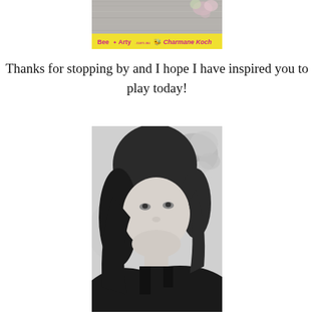[Figure (photo): Bee Arty banner with floral background and yellow strip showing 'Bee Arty' and 'Charmane Koch' text]
Thanks for stopping by and I hope I have inspired you to play today!
[Figure (photo): Black and white portrait photo of a woman with dark hair, smiling, with flowers in the background]